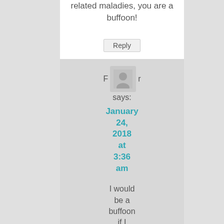related maladies, you are a buffoon!
Reply
F r says:
January 24, 2018 at 3:36 am
I would be a buffoon if I observed that